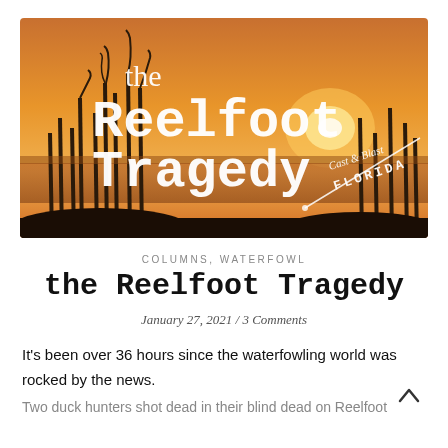[Figure (illustration): Hero image with orange/sunset sky and reed silhouettes. Large white serif/slab text reads 'the Reelfoot Tragedy'. Bottom right has 'Cast & Blast FLORIDA' logo in cursive/italic white text on an angled banner.]
COLUMNS, WATERFOWL
the Reelfoot Tragedy
January 27, 2021 / 3 Comments
It's been over 36 hours since the waterfowling world was rocked by the news.
Two duck hunters shot dead in their blind dead on Reelfoot